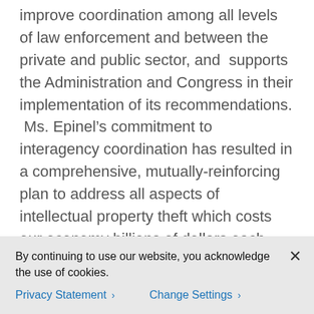improve coordination among all levels of law enforcement and between the private and public sector, and  supports the Administration and Congress in their implementation of its recommendations.  Ms. Epinel’s commitment to interagency coordination has resulted in a comprehensive, mutually-reinforcing plan to address all aspects of intellectual property theft which costs our economy billions of dollars each year and poses risks to our economic and national security.

As one of America’s most innovative companies, we at Cisco look forward to working with the Ms.
By continuing to use our website, you acknowledge the use of cookies.
Privacy Statement >   Change Settings >